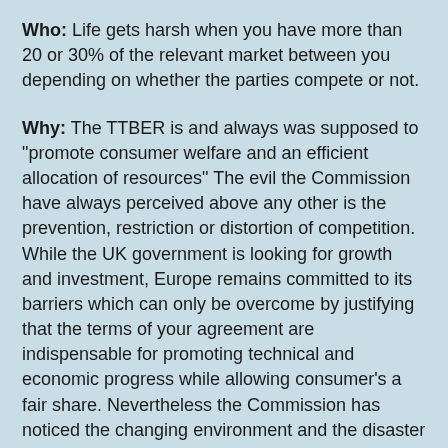Who: Life gets harsh when you have more than 20 or 30% of the relevant market between you depending on whether the parties compete or not.
Why: The TTBER is and always was supposed to "promote consumer welfare and an efficient allocation of resources" The evil the Commission have always perceived above any other is the prevention, restriction or distortion of competition. While the UK government is looking for growth and investment, Europe remains committed to its barriers which can only be overcome by justifying that the terms of your agreement are indispensable for promoting technical and economic progress while allowing consumer's a fair share. Nevertheless the Commission has noticed the changing environment and the disaster of standards essential patents and the litigation they create. So mostly this is updating.
What has changed: The point that struck me was that termination for challenge clauses in non-exclusive licenses are no longer automatically OK (you can still terminate if its an exclusive licence).